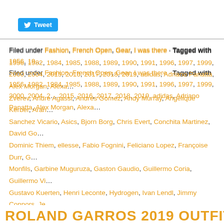[Figure (other): Twitter Tweet button]
Filed under Fashion, French Open, Gear, I was there · Tagged with 1956, 1982, 1984, 1985, 1988, 1989, 1990, 1991, 1996, 1997, 1999, 2000, 2004, 2015, 2016, 2017, 2018, 2019, adidas, Adriano Panatta, Alex Morgan, Alexander Zverev, Andre Agassi, Andres Gomez, Andy Murray, Angelique Kerber, Arantxa Sanchez Vicario, Asics, Bjorn Borg, Chris Evert, Conchita Martinez, David Goffin, Dominic Thiem, ellesse, Fabio Fognini, Feliciano Lopez, Françoise Durr, Gael Monfils, Garbine Muguruza, Gaston Gaudio, Guillermo Coria, Guillermo Vilas, Gustavo Kuerten, Henri Leconte, Hydrogen, Ivan Lendl, Jimmy Connors, John McEnroe, Kei Nishikori, Ken Rosewall, Lacoste, Le Coq Sportif, Lesley Turner, Manuel Santana, Mariano Puerta, Martina Hingis, Martina Navratilova, Mary Pierce, Mats Wilander, Michael Chang, Mima Jausovec, Natasha Zvereva, Nike, Novak Djokovic, outfit, Pete Sampras, Rafael Nadal, rg1956, rg1961, rg1982, rg1984, rg1985, rg1988, rg1989, rg1990, rg1991, rg1996, rg1997, rg2000, rg2004, rg2005, rg2015, rg2016, rg2017, rg2018, rg2019, Richard Gasquet, Rod Laver, Roger Federer, Sam Stosur, Serena Williams, Sergi Bruguera, Simona Halep, Steffi Graf, tickets, Uniqlo, Virginia Ruzici, Yannick Noah
ROLAND GARROS 2019 OUTFITS